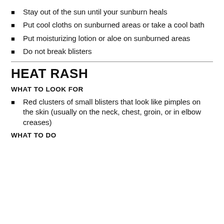Stay out of the sun until your sunburn heals
Put cool cloths on sunburned areas or take a cool bath
Put moisturizing lotion or aloe on sunburned areas
Do not break blisters
HEAT RASH
WHAT TO LOOK FOR
Red clusters of small blisters that look like pimples on the skin (usually on the neck, chest, groin, or in elbow creases)
WHAT TO DO